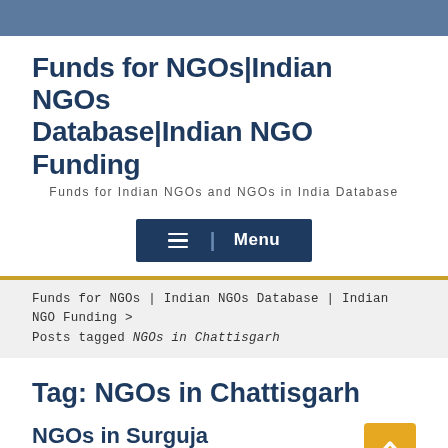Funds for NGOs|Indian NGOs Database|Indian NGO Funding
Funds for Indian NGOs and NGOs in India Database
≡ | Menu
Funds for NGOs|Indian NGOs Database|Indian NGO Funding > Posts tagged NGOs in Chattisgarh
Tag: NGOs in Chattisgarh
NGOs in Surguja
September 1, 2017